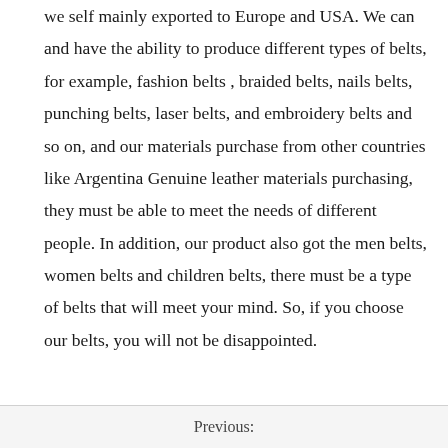we self mainly exported to Europe and USA. We can and have the ability to produce different types of belts, for example, fashion belts , braided belts, nails belts, punching belts, laser belts, and embroidery belts and so on, and our materials purchase from other countries like Argentina Genuine leather materials purchasing, they must be able to meet the needs of different people. In addition, our product also got the men belts, women belts and children belts, there must be a type of belts that will meet your mind. So, if you choose our belts, you will not be disappointed.
Previous: